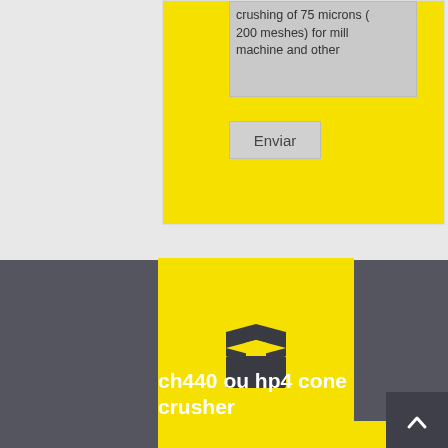crushing of 75 microns (200 meshes) for mill machine and other
Enviar
[Figure (illustration): Open box icon in dark gray on yellow background]
ch440 ou hp4 cone crusher
Click & Chat